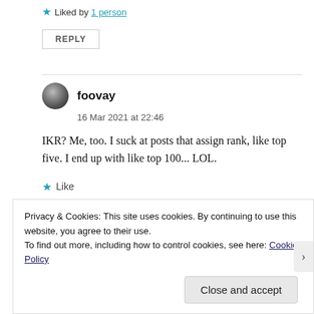★ Liked by 1 person
REPLY
foovay
16 Mar 2021 at 22:46
IKR? Me, too. I suck at posts that assign rank, like top five. I end up with like top 100... LOL.
★ Like
Privacy & Cookies: This site uses cookies. By continuing to use this website, you agree to their use.
To find out more, including how to control cookies, see here: Cookie Policy
Close and accept